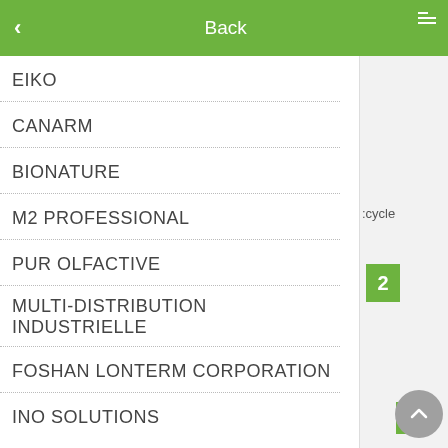Back
EIKO
CANARM
BIONATURE
M2 PROFESSIONAL
PUR OLFACTIVE
MULTI-DISTRIBUTION INDUSTRIELLE
FOSHAN LONTERM CORPORATION
INO SOLUTIONS